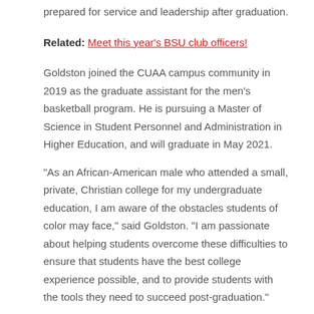prepared for service and leadership after graduation.
Related: Meet this year's BSU club officers!
Goldston joined the CUAA campus community in 2019 as the graduate assistant for the men's basketball program. He is pursuing a Master of Science in Student Personnel and Administration in Higher Education, and will graduate in May 2021.
“As an African-American male who attended a small, private, Christian college for my undergraduate education, I am aware of the obstacles students of color may face,” said Goldston. “I am passionate about helping students overcome these difficulties to ensure that students have the best college experience possible, and to provide students with the tools they need to succeed post-graduation.”